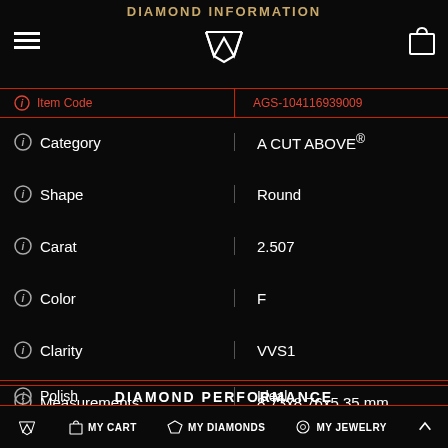DIAMOND INFORMATION
| Field | Value |
| --- | --- |
| Item Code | AGS-104116939009 |
| Category | A CUT ABOVE® |
| Shape | Round |
| Carat | 2.507 |
| Color | F |
| Clarity | VVS1 |
| Measurements | 8.73x8.76x5.35 mm |
DIAMOND PERFORMANCE
| Field | Value |
| --- | --- |
| Cut | Ideal |
| Light Performance | Ideal |
| Polish | Ideal |
| Symmetry | Ideal |
MY CART   MY DIAMONDS   MY JEWELRY